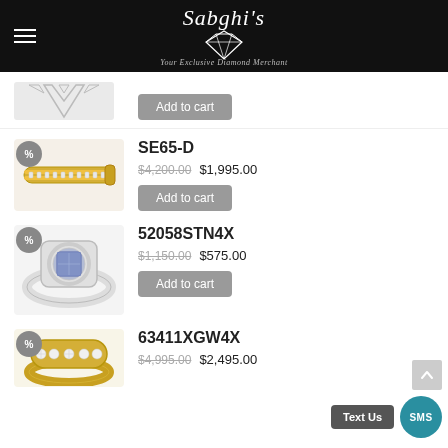Sabghi's — Your Exclusive Diamond Merchant
[Figure (photo): Partial view of jewelry item at top of page (earrings/pendants), partially cropped]
Add to cart
[Figure (photo): Gold diamond tennis bracelet with percent badge]
SE65-D
$4,200.00 $1,995.00
Add to cart
[Figure (photo): Silver ring with blue/purple center stone surrounded by diamonds, with percent badge]
52058STN4X
$1,150.00 $575.00
Add to cart
[Figure (photo): Gold ring with channel-set diamonds, with percent badge]
63411XGW4X
$4,995.00 $2,495.00